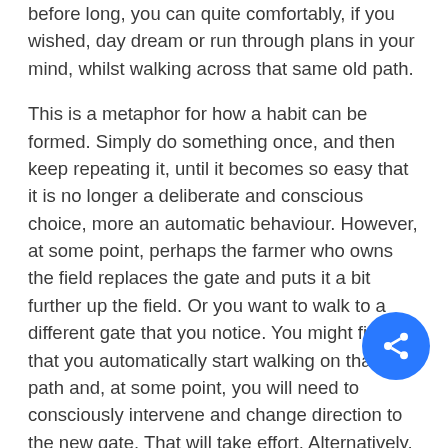before long, you can quite comfortably, if you wished, day dream or run through plans in your mind, whilst walking across that same old path.
This is a metaphor for how a habit can be formed. Simply do something once, and then keep repeating it, until it becomes so easy that it is no longer a deliberate and conscious choice, more an automatic behaviour. However, at some point, perhaps the farmer who owns the field replaces the gate and puts it a bit further up the field. Or you want to walk to a different gate that you notice. You might find that you automatically start walking on that old path and, at some point, you will need to consciously intervene and change direction to the new gate. That will take effort. Alternatively, you may notice the gate move at the start (or already know about it), and so decide to start a new path to the new gate. The first few days, you will need to consciously, deliberately hold the intention of walking the new path, and follow through and do it. Then, gradually it will become easier until it is automatic. Could you, unintentionally walk the old path?